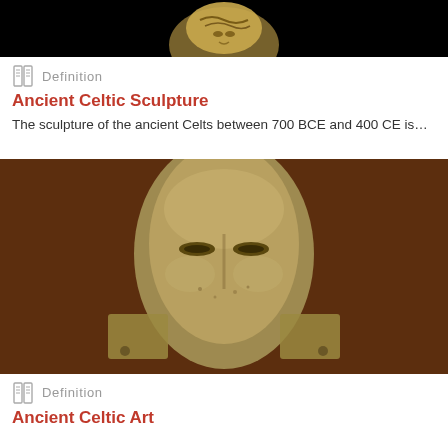[Figure (photo): Partial view of a gold Celtic artifact (face/mask detail) against a black background]
Definition
Ancient Celtic Sculpture
The sculpture of the ancient Celts between 700 BCE and 400 CE is…
[Figure (photo): Close-up of a bronze/gold Celtic helmet face mask with stylized features against a brown background]
Definition
Ancient Celtic Art